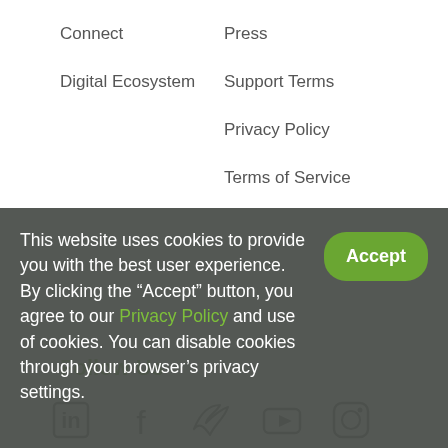Connect
Press
Digital Ecosystem
Support Terms
Privacy Policy
Terms of Service
Follow Us
[Figure (other): Social media icons: LinkedIn, Facebook, Twitter/X, YouTube, Instagram]
This website uses cookies to provide you with the best user experience. By clicking the “Accept” button, you agree to our Privacy Policy and use of cookies. You can disable cookies through your browser’s privacy settings.